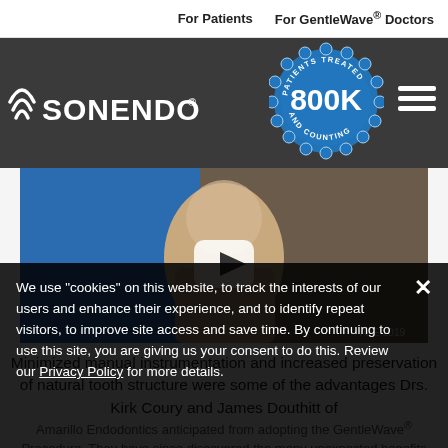For Patients   For GentleWave® Doctors
[Figure (logo): Sonendo logo with wave icon on dark grey background]
[Figure (photo): Video thumbnail of a man in a suit speaking at AAE 2019, with blue backdrop. 800K Patients Treated and Counting badge overlay. Play button in center.]
Minimized manual instrumentation and increased preservation of natural tooth structure were some of the advantages Drs. Kirk Coury and James Douthitt of
Amarillo Endodontics anticipated from adopting the GentleWave® Procedure. They have since discovered the many unexpected benefits that have improved the overall endodontic experience for both them and their
We use "cookies" on this website, to track the interests of our users and enhance their experience, and to identify repeat visitors, to improve site access and save time. By continuing to use this site, you are giving us your consent to do this. Review our Privacy Policy for more details.